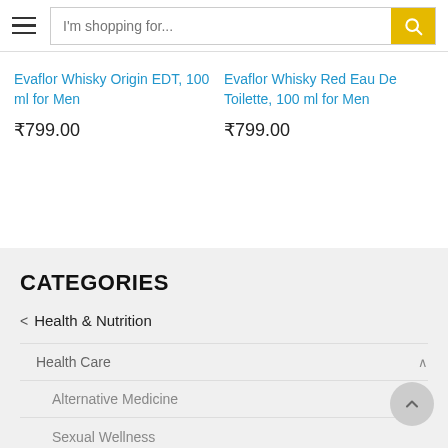I'm shopping for...
Evaflor Whisky Origin EDT, 100 ml for Men
₹799.00
Evaflor Whisky Red Eau De Toilette, 100 ml for Men
₹799.00
CATEGORIES
< Health & Nutrition
Health Care
Alternative Medicine
Sexual Wellness